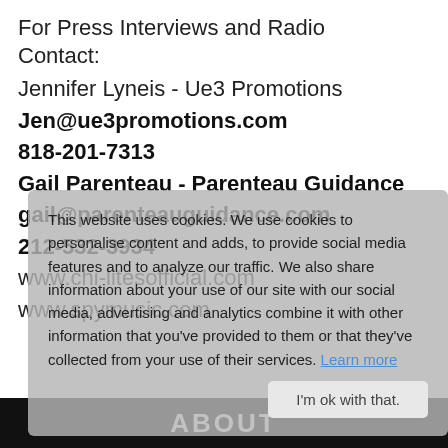For Press Interviews and Radio Contact:
Jennifer Lyneis - Ue3 Promotions
Jen@ue3promotions.com
818-201-7313
Gail Parenteau - Parenteau Guidance
gail@parenteauguidance.com
212-532-3934
www.chi-litesofficial.com
www.spymusic.com
This website uses cookies. We use cookies to personalise content and adds, to provide social media features and to analyze our traffic. We also share information about your use of our site with our social media, advertising and analytics combine it with other information that you've provided to them or that they've collected from your use of their services. Learn more
ABOUT